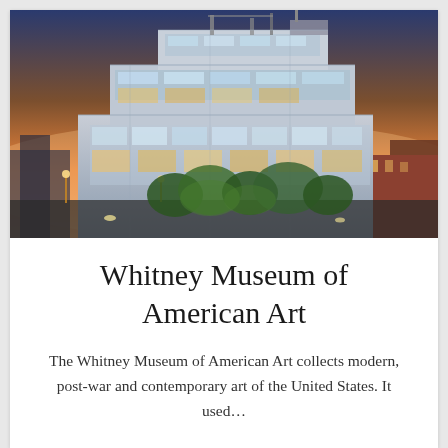[Figure (photo): Exterior photograph of the Whitney Museum of American Art building at dusk/sunset, showing a modern multi-story steel and glass structure illuminated against an orange-pink sky, with trees and urban surroundings visible below.]
Whitney Museum of American Art
The Whitney Museum of American Art collects modern, post-war and contemporary art of the United States. It used...